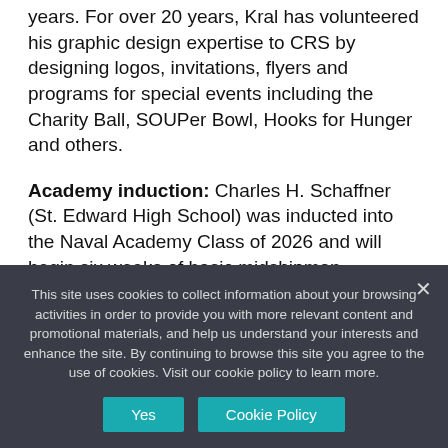years. For over 20 years, Kral has volunteered his graphic design expertise to CRS by designing logos, invitations, flyers and programs for special events including the Charity Ball, SOUPer Bowl, Hooks for Hunger and others.
Academy induction: Charles H. Schaffner (St. Edward High School) was inducted into the Naval Academy Class of 2026 and will begin six weeks of basic midshipman
This site uses cookies to collect information about your browsing activities in order to provide you with more relevant content and promotional materials, and help us understand your interests and enhance the site. By continuing to browse this site you agree to the use of cookies. Visit our cookie policy to learn more.